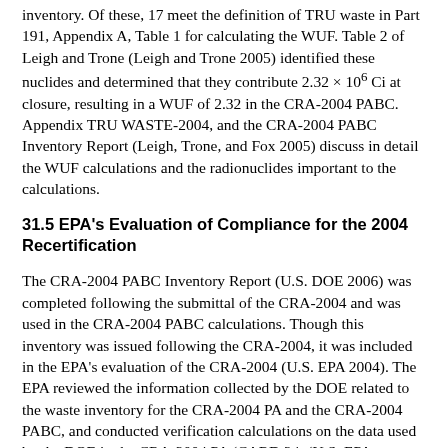inventory. Of these, 17 meet the definition of TRU waste in Part 191, Appendix A, Table 1 for calculating the WUF. Table 2 of Leigh and Trone (Leigh and Trone 2005) identified these nuclides and determined that they contribute 2.32 × 10⁶ Ci at closure, resulting in a WUF of 2.32 in the CRA-2004 PABC. Appendix TRU WASTE-2004, and the CRA-2004 PABC Inventory Report (Leigh, Trone, and Fox 2005) discuss in detail the WUF calculations and the radionuclides important to the calculations.
31.5 EPA's Evaluation of Compliance for the 2004 Recertification
The CRA-2004 PABC Inventory Report (U.S. DOE 2006) was completed following the submittal of the CRA-2004 and was used in the CRA-2004 PABC calculations. Though this inventory was issued following the CRA-2004, it was included in the EPA's evaluation of the CRA-2004 (U.S. EPA 2004). The EPA reviewed the information collected by the DOE related to the waste inventory for the CRA-2004 PA and the CRA-2004 PABC, and conducted verification calculations on the data used by the DOE in the CRA-2004 PA (CARD 24, (U.S. EPA 2006a;U.S. EPA 2006c), Sections 3.4 and 4.4). The methodologies for calculating the WUF and release limits in the CRA-2004 PABC were unchanged from those used in the CCA and the CRA-2004, and the EPA determined that the approach used was appropriate and acceptable for the